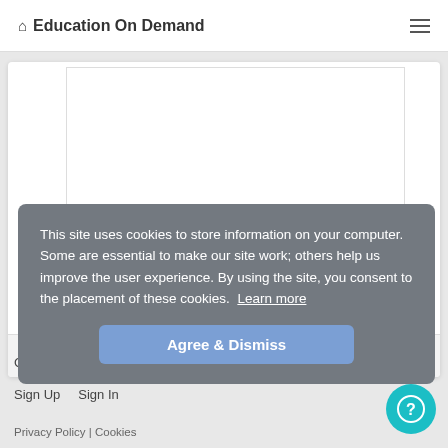Education On Demand
[Figure (screenshot): White card area with inner content box showing a list/grid view with a bottom bar showing a list icon and the number 3]
Courses   Search   Support   HL7.org
Sign Up   Sign In
This site uses cookies to store information on your computer. Some are essential to make our site work; others help us improve the user experience. By using the site, you consent to the placement of these cookies. Learn more
Agree & Dismiss
Privacy Policy | Cookies